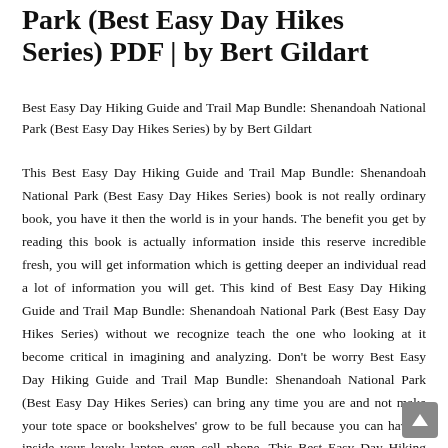Park (Best Easy Day Hikes Series) PDF | by Bert Gildart
Best Easy Day Hiking Guide and Trail Map Bundle: Shenandoah National Park (Best Easy Day Hikes Series) by by Bert Gildart
This Best Easy Day Hiking Guide and Trail Map Bundle: Shenandoah National Park (Best Easy Day Hikes Series) book is not really ordinary book, you have it then the world is in your hands. The benefit you get by reading this book is actually information inside this reserve incredible fresh, you will get information which is getting deeper an individual read a lot of information you will get. This kind of Best Easy Day Hiking Guide and Trail Map Bundle: Shenandoah National Park (Best Easy Day Hikes Series) without we recognize teach the one who looking at it become critical in imagining and analyzing. Don't be worry Best Easy Day Hiking Guide and Trail Map Bundle: Shenandoah National Park (Best Easy Day Hikes Series) can bring any time you are and not make your tote space or bookshelves' grow to be full because you can have it inside your lovely laptop even cell phone. This Best Easy Day Hiking Guide and Trail Map Bundle: Shenandoah